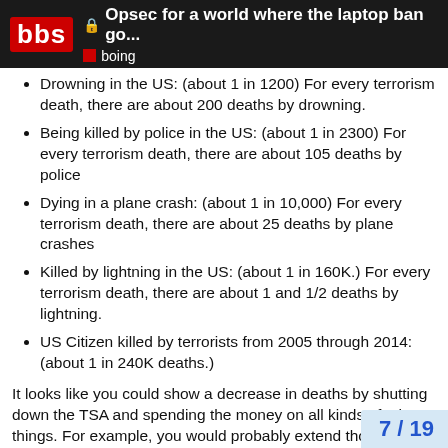🔒 Opsec for a world where the laptop ban go... | bbs | boing
Drowning in the US: (about 1 in 1200) For every terrorism death, there are about 200 deaths by drowning.
Being killed by police in the US: (about 1 in 2300) For every terrorism death, there are about 105 deaths by police
Dying in a plane crash: (about 1 in 10,000) For every terrorism death, there are about 25 deaths by plane crashes
Killed by lightning in the US: (about 1 in 160K.) For every terrorism death, there are about 1 and 1/2 deaths by lightning.
US Citizen killed by terrorists from 2005 through 2014: (about 1 in 240K deaths.)
It looks like you could show a decrease in deaths by shutting down the TSA and spending the money on all kinds of other things. For example, you would probably extend thousands of lives every year, if you took the TSA's budg… money to give a daily carrot to everybody i…
7 / 19